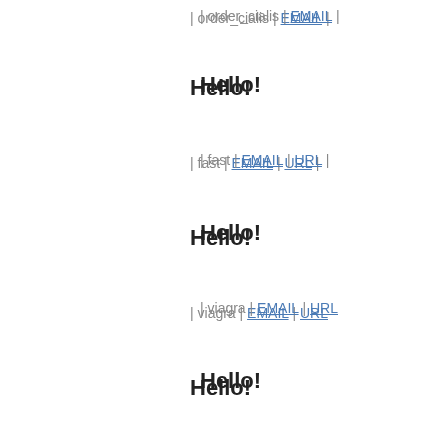| order_cialis | EMAIL |
Hello!
| fast | EMAIL | URL |
Hello!
| viagra | EMAIL | URL
Hello!
| cialis | EMAIL | URL
| side | EMAIL | URL
| and | EMAIL | URL |
| for | EMAIL | URL |
| cialis | EMAIL | URL